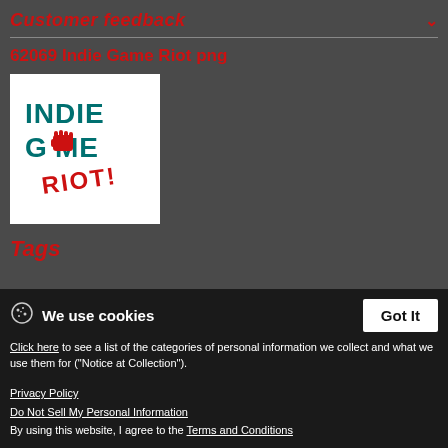Customer feedback
62069 Indie Game Riot png
[Figure (logo): Indie Game Riot logo: teal block letters 'INDIE GAME' with red graffiti-style 'RIOT!' text and a red raised fist replacing the letter 'O' in GAME]
Tags
We use cookies
Click here to see a list of the categories of personal information we collect and what we use them for ("Notice at Collection").
Privacy Policy
Do Not Sell My Personal Information
By using this website, I agree to the Terms and Conditions